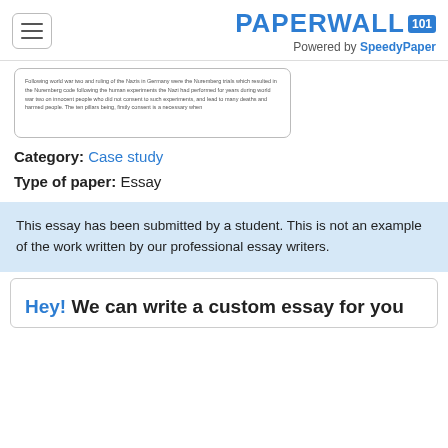PAPERWALL 101 | Powered by SpeedyPaper
[Figure (screenshot): Preview of essay text in a bordered box]
Category: Case study
Type of paper: Essay
This essay has been submitted by a student. This is not an example of the work written by our professional essay writers.
Hey! We can write a custom essay for you